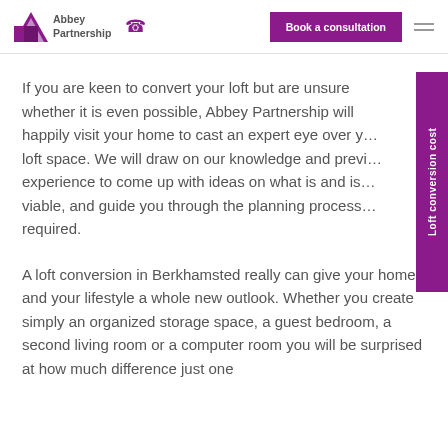Abbey Partnership | Book a consultation
If you are keen to convert your loft but are unsure whether it is even possible, Abbey Partnership will happily visit your home to cast an expert eye over your loft space. We will draw on our knowledge and previous experience to come up with ideas on what is and is not viable, and guide you through the planning process if required.
A loft conversion in Berkhamsted really can give your home and your lifestyle a whole new outlook. Whether you create simply an organized storage space, a guest bedroom, a second living room or a computer room you will be surprised at how much difference just one